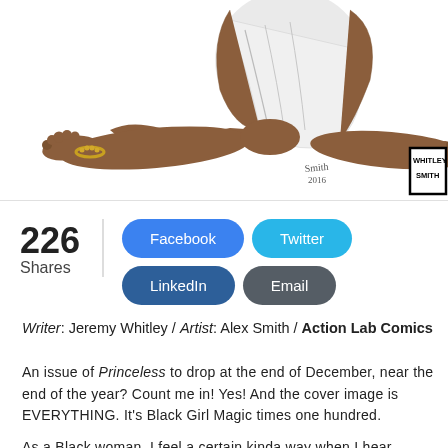[Figure (illustration): Partial illustration of a Black woman sitting with legs extended, wearing a white outfit with beaded anklet. Artist signature reads 'Smith 2016'. Whitley Smith badge in lower right corner.]
226
Shares
Facebook | Twitter | LinkedIn | Email
Writer: Jeremy Whitley / Artist: Alex Smith / Action Lab Comics
An issue of Princeless to drop at the end of December, near the end of the year? Count me in! Yes! And the cover image is EVERYTHING. It's Black Girl Magic times one hundred.
As a Black woman, I feel a certain kinda way when I hear